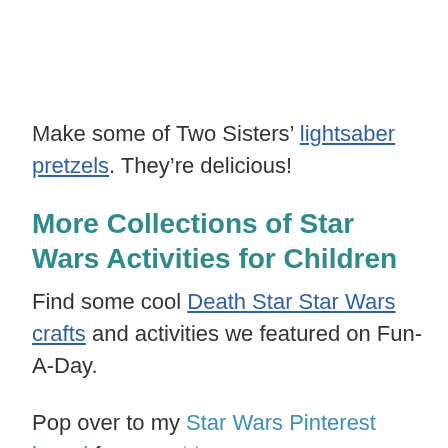Make some of Two Sisters' lightsaber pretzels. They're delicious!
More Collections of Star Wars Activities for Children
Find some cool Death Star Star Wars crafts and activities we featured on Fun-A-Day.
Pop over to my Star Wars Pinterest board for more ideas.